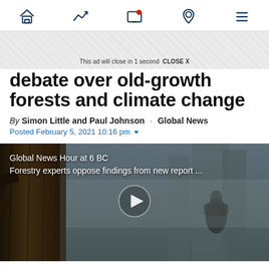Navigation bar with home, trending, screen, location, and menu icons
This ad will close in 1 second  CLOSE X
debate over old-growth forests and climate change
By Simon Little and Paul Johnson · Global News
Posted February 5, 2021 10:16 pm
[Figure (screenshot): Video thumbnail showing a dark forest scene with a large tree trunk and a person in the background. Overlay text reads 'Global News Hour at 6 BC' and 'Forestry experts oppose findings from new report ...' with a play button in the center.]